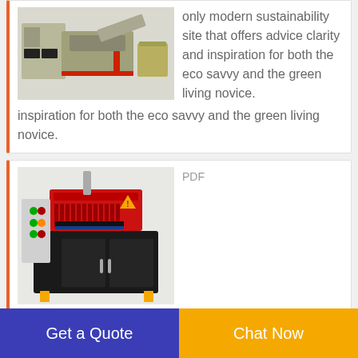[Figure (photo): Industrial recycling/shredding machine with conveyor belt, rendered in 3D, olive/grey and red colors]
only modern sustainability site that offers advice clarity and inspiration for both the eco savvy and the green living novice.
[Figure (photo): Industrial wire stripping/recycling machine, red and black with yellow feet, control panel on left, photographed in a room]
PDF
Understanding waste streams treatment of specific waste
Get a Quote
Chat Now